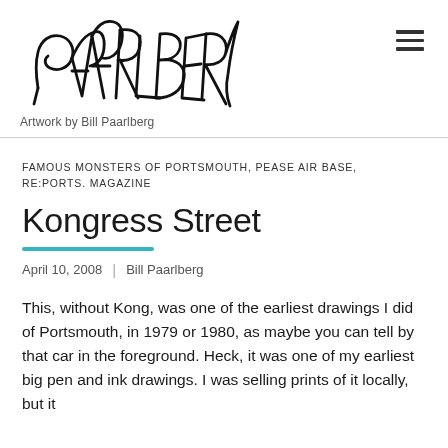[Figure (logo): Handwritten signature-style logo reading PAARLBERG]
Artwork by Bill Paarlberg
FAMOUS MONSTERS OF PORTSMOUTH, PEASE AIR BASE, RE:PORTS. MAGAZINE
Kongress Street
April 10, 2008  |  Bill Paarlberg
This, without Kong, was one of the earliest drawings I did of Portsmouth, in 1979 or 1980, as maybe you can tell by that car in the foreground. Heck, it was one of my earliest big pen and ink drawings. I was selling prints of it locally, but it